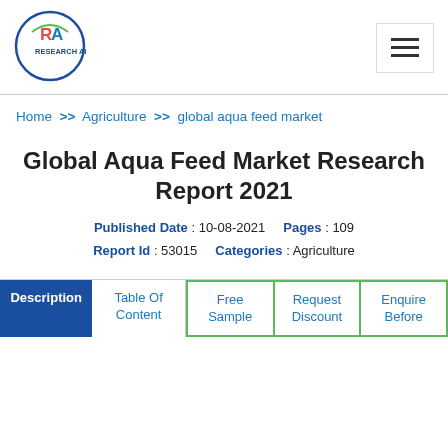[Figure (logo): Research Allied logo: circular border with RA initials and 'Research Allied' text]
Home >> Agriculture >> global aqua feed market
Global Aqua Feed Market Research Report 2021
Published Date : 10-08-2021   Pages : 109
Report Id : 53015   Categories : Agriculture
| Description | Table Of Content | Free Sample | Request Discount | Enquire Before |
| --- | --- | --- | --- | --- |